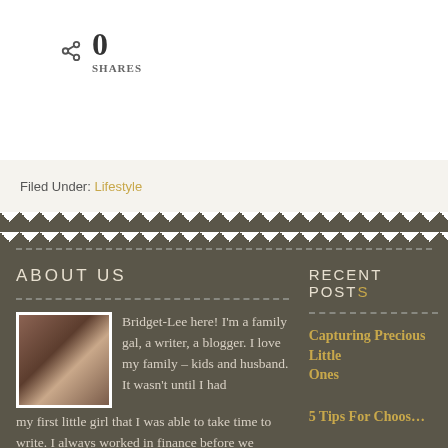0 SHARES
Filed Under: Lifestyle
ABOUT US
Bridget-Lee here! I'm a family gal, a writer, a blogger. I love my family – kids and husband. It wasn't until I had my first little girl that I was able to take time to write. I always worked in finance before we started to have kids and dreamed of the day I would quite my job to write. But that push for not going back to work with my kids at home was exactly what I needed. Read More…
RECENT POSTS
Capturing Precious Little Ones
5 Tips For Choos…
3 Tips For Editing Overly Decorated…